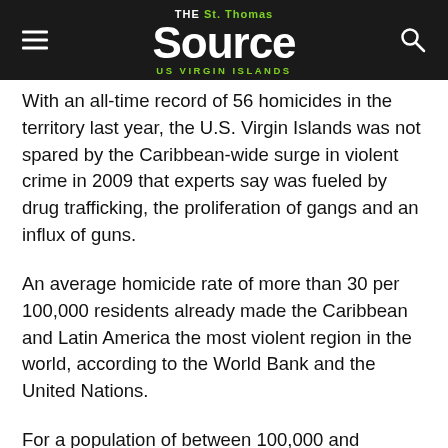The St. Thomas Source — US Virgin Islands
With an all-time record of 56 homicides in the territory last year, the U.S. Virgin Islands was not spared by the Caribbean-wide surge in violent crime in 2009 that experts say was fueled by drug trafficking, the proliferation of gangs and an influx of guns.
An average homicide rate of more than 30 per 100,000 residents already made the Caribbean and Latin America the most violent region in the world, according to the World Bank and the United Nations.
For a population of between 100,000 and 110,000 residents, the 56 homicides committed in the U.S. Virgin Islands last year pushed the territory alongside Jamaica and Trinidad, which have jockeyed several years running for the dubious title of "murder capital of the world."